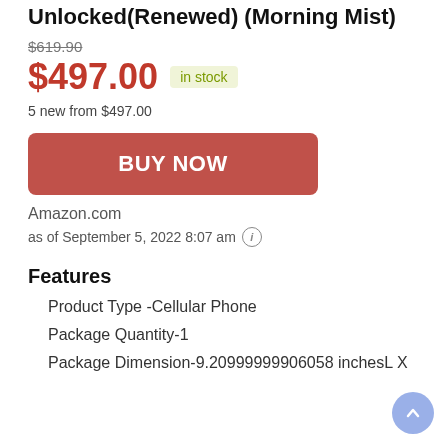Unlocked(Renewed) (Morning Mist)
$619.90 (strikethrough)
$497.00  in stock
5 new from $497.00
BUY NOW
Amazon.com
as of September 5, 2022 8:07 am ℹ
Features
Product Type -Cellular Phone
Package Quantity-1
Package Dimension-9.20999999906058 inchesL X